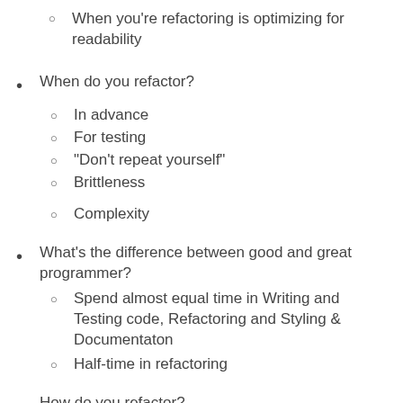When you're refactoring is optimizing for readability
When do you refactor?
In advance
For testing
“Don't repeat yourself”
Brittleness
Complexity
What’s the difference between good and great programmer?
Spend almost equal time in Writing and Testing code, Refactoring and Styling & Documentaton
Half-time in refactoring
How do you refactor?